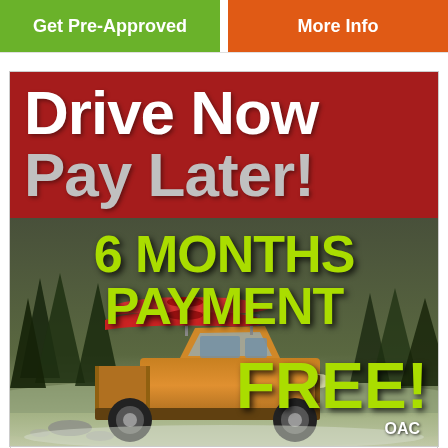[Figure (other): Two call-to-action buttons: green 'Get Pre-Approved' and orange 'More Info']
[Figure (infographic): Car dealership advertisement: 'Drive Now Pay Later!' in red banner with large white and silver text, below it a photo of an orange Ford Ranger truck with red kayaks on roof rack in snowy forest setting, overlaid with lime-green text '6 MONTHS PAYMENT FREE! OAC']
180 day deferral, interest accrues during the deferral and